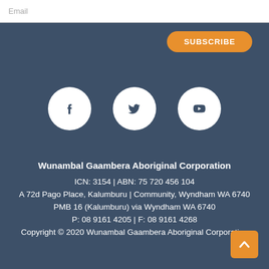Email
SUBSCRIBE
[Figure (illustration): Three white circular social media icons on dark blue background: Facebook, Twitter, YouTube]
Wunambal Gaambera Aboriginal Corporation
ICN: 3154 | ABN: 75 720 456 104
A 72d Pago Place, Kalumburu | Community, Wyndham WA 6740
PMB 16 (Kalumburu) via Wyndham WA 6740
P: 08 9161 4205 | F: 08 9161 4268
Copyright © 2020 Wunambal Gaambera Aboriginal Corporation